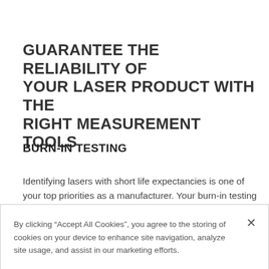GUARANTEE THE RELIABILITY OF YOUR LASER PRODUCT WITH THE RIGHT MEASUREMENT TOOLS
BURN-IN TESTING
Identifying lasers with short life expectancies is one of your top priorities as a manufacturer. Your burn-in testing station must, therefore, be outfitted with power and energy sensors that are capable of detecting the slightest change in your power operating parameters...
By clicking "Accept All Cookies", you agree to the storing of cookies on your device to enhance site navigation, analyze site usage, and assist in our marketing efforts.